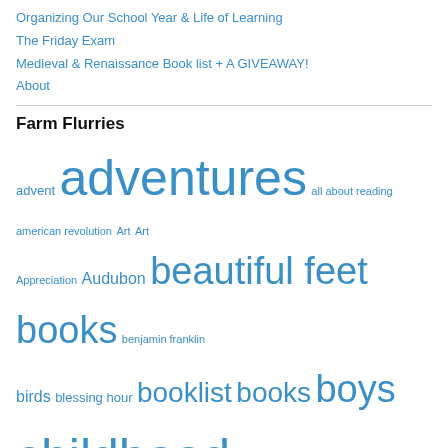Organizing Our School Year & Life of Learning
The Friday Exam
Medieval & Renaissance Book list + A GIVEAWAY!
About
Farm Flurries
advent adventures all about reading american revolution Art Art Appreciation Audubon beautiful feet books benjamin franklin birds blessing hour booklist books boys childhood Classical colonists columbus constellations exploring countries and cultures frontier geography george washington giveaway homeschool education homeschool in the